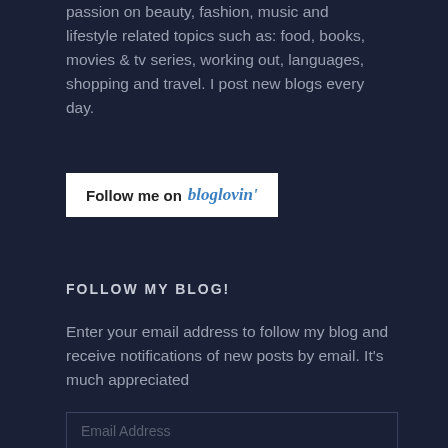passion on beauty, fashion, music and lifestyle related topics such as: food, books, movies & tv series, working out, languages, shopping and travel. I post new blogs every day.
[Figure (other): Follow me on Bloglovin' button — white rectangular button with bold black text 'Follow me on' and blue italic text 'bloglovin\u2019']
FOLLOW MY BLOG!
Enter your email address to follow my blog and receive notifications of new posts by email. It's much appreciated
Email Address